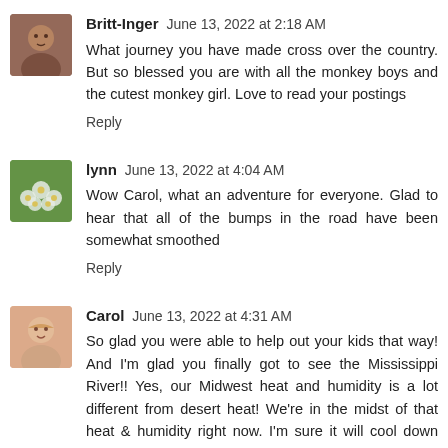[Figure (photo): Avatar photo of Britt-Inger]
Britt-Inger June 13, 2022 at 2:18 AM
What journey you have made cross over the country. But so blessed you are with all the monkey boys and the cutest monkey girl. Love to read your postings
Reply
[Figure (photo): Avatar photo of lynn showing flowers/daisies]
lynn June 13, 2022 at 4:04 AM
Wow Carol, what an adventure for everyone. Glad to hear that all of the bumps in the road have been somewhat smoothed
Reply
[Figure (photo): Avatar photo of Carol]
Carol June 13, 2022 at 4:31 AM
So glad you were able to help out your kids that way! And I'm glad you finally got to see the Mississippi River!! Yes, our Midwest heat and humidity is a lot different from desert heat! We're in the midst of that heat & humidity right now. I'm sure it will cool down before too long, without the